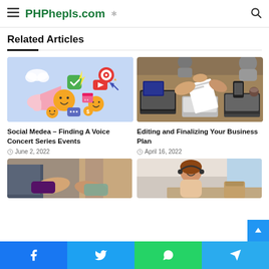PHPhepls.com
Related Articles
[Figure (illustration): Colorful social media marketing illustration with megaphone, emoji faces, social media icons on blue background]
Social Medea – Finding A Voice Concert Series Events
June 2, 2022
[Figure (photo): Business meeting photo showing people around a table with laptops and documents, overhead view]
Editing and Finalizing Your Business Plan
April 16, 2022
[Figure (photo): Handshake photo — partial, cropped at bottom of page]
[Figure (photo): Woman smiling in office — partial, cropped at bottom of page]
Facebook  Twitter  WhatsApp  Telegram